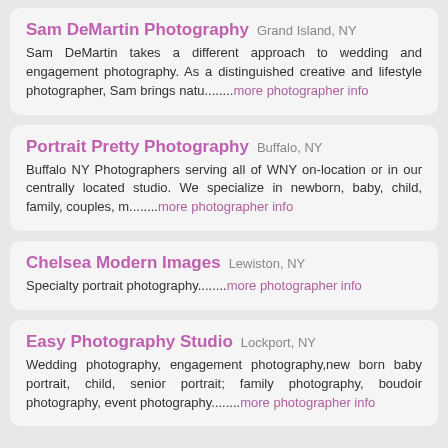Sam DeMartin Photography  Grand Island, NY
Sam DeMartin takes a different approach to wedding and engagement photography. As a distinguished creative and lifestyle photographer, Sam brings natu........more photographer info
Portrait Pretty Photography  Buffalo, NY
Buffalo NY Photographers serving all of WNY on-location or in our centrally located studio. We specialize in newborn, baby, child, family, couples, m........more photographer info
Chelsea Modern Images  Lewiston, NY
Specialty portrait photography........more photographer info
Easy Photography Studio  Lockport, NY
Wedding photography, engagement photography,new born baby portrait, child, senior portrait; family photography, boudoir photography, event photography........more photographer info